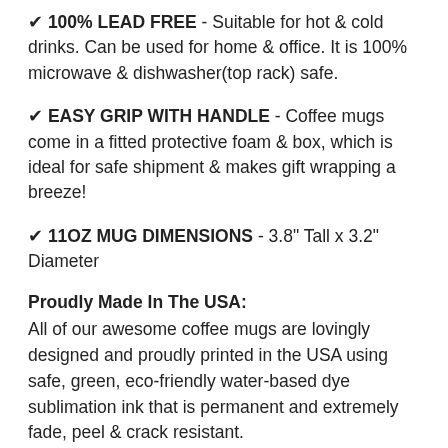✔ 100% LEAD FREE - Suitable for hot & cold drinks. Can be used for home & office. It is 100% microwave & dishwasher(top rack) safe.
✔ EASY GRIP WITH HANDLE - Coffee mugs come in a fitted protective foam & box, which is ideal for safe shipment & makes gift wrapping a breeze!
✔ 11OZ MUG DIMENSIONS - 3.8" Tall x 3.2" Diameter
Proudly Made In The USA:
All of our awesome coffee mugs are lovingly designed and proudly printed in the USA using safe, green, eco-friendly water-based dye sublimation ink that is permanent and extremely fade, peel & crack resistant.
Each item is freshly custom made to order so it is not sitting on a shelf waiting to ship while collecting dust &